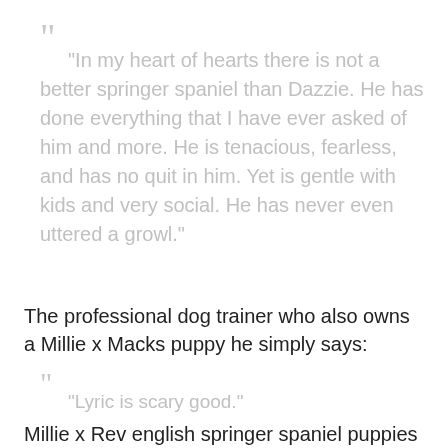“In my heart of hearts there is not a better springer spaniel than Dazzie. He has done everything that I have ever asked of him and more. He is tenacious, fearless, and has no quit in him. Yet is gentle with kids and very social. He has never even uttered a growl.”
The professional dog trainer who also owns a Millie x Macks puppy he simply says:
“Lyric is scary good.”
Millie x Rev english springer spaniel puppies for sale